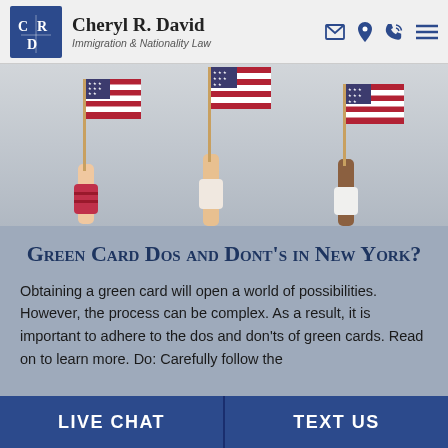Cheryl R. David — Immigration & Nationality Law
[Figure (photo): Three hands raised holding American flags against a grey background]
Green Card Dos and Dont's in New York?
Obtaining a green card will open a world of possibilities. However, the process can be complex. As a result, it is important to adhere to the dos and don'ts of green cards. Read on to learn more. Do: Carefully follow the
LIVE CHAT | TEXT US